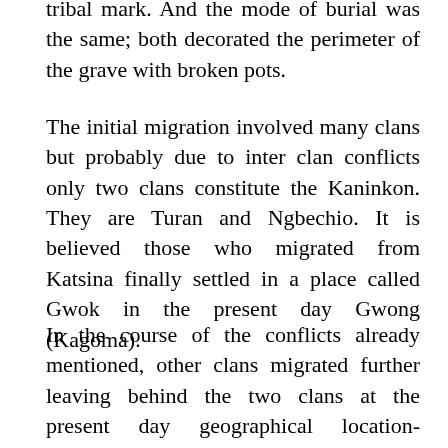tribal mark. And the mode of burial was the same; both decorated the perimeter of the grave with broken pots.
The initial migration involved many clans but probably due to inter clan conflicts only two clans constitute the Kaninkon. They are Turan and Ngbechio. It is believed those who migrated from Katsina finally settled in a place called Gwok in the present day Gwong (Kagoma).
In the course of the conflicts already mentioned, other clans migrated further leaving behind the two clans at the present day geographical location-Gyannek (Bakin Kogi). The other break away clans may constitutes the other neighbouring people with the Kaninkon who share similarities in the language